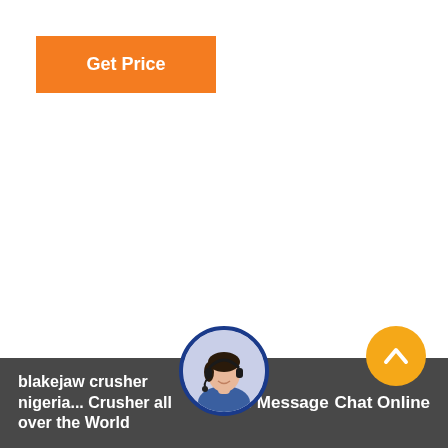[Figure (other): Orange 'Get Price' button in upper left]
[Figure (other): Circular avatar image of a woman with headset, centered above the bottom bar]
[Figure (other): Orange circular scroll-up button with chevron arrow, lower right]
Leave Message   blakejaw crusher nigeria ... Crusher all over the World   Chat Online